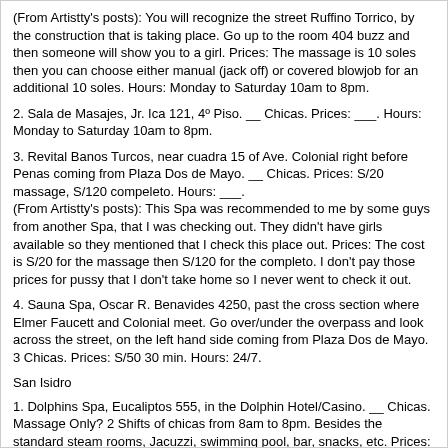(From Artistty's posts): You will recognize the street Ruffino Torrico, by the construction that is taking place. Go up to the room 404 buzz and then someone will show you to a girl. Prices: The massage is 10 soles then you can choose either manual (jack off) or covered blowjob for an additional 10 soles. Hours: Monday to Saturday 10am to 8pm.
2. Sala de Masajes, Jr. Ica 121, 4º Piso. __ Chicas. Prices: ___. Hours: Monday to Saturday 10am to 8pm.
3. Revital Banos Turcos, near cuadra 15 of Ave. Colonial right before Penas coming from Plaza Dos de Mayo. __ Chicas. Prices: S/20 massage, S/120 compeleto. Hours: ___.
(From Artistty's posts): This Spa was recommended to me by some guys from another Spa, that I was checking out. They didn't have girls available so they mentioned that I check this place out. Prices: The cost is S/20 for the massage then S/120 for the completo. I don't pay those prices for pussy that I don't take home so I never went to check it out.
4. Sauna Spa, Oscar R. Benavides 4250, past the cross section where Elmer Faucett and Colonial meet. Go over/under the overpass and look across the street, on the left hand side coming from Plaza Dos de Mayo.
3 Chicas. Prices: S/50 30 min. Hours: 24/7.
San Isidro
1. Dolphins Spa, Eucaliptos 555, in the Dolphin Hotel/Casino. __ Chicas. Massage Only? 2 Shifts of chicas from 8am to 8pm. Besides the standard steam rooms, Jacuzzi, swimming pool, bar, snacks, etc. Prices: ___. Hours: 24/7.
2. Baños Turcos Windsor, Miguel Dasso #156. __ Chicas. Prices: ___. Tel: 440-1050. Hours: Mon-Sat 10am-10pm.
Night Clubs / Strip Clubs http://www.stripclublist.com/y.asp?s=P2
Centro